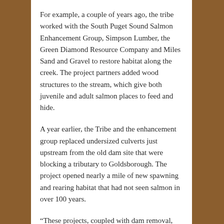For example, a couple of years ago, the tribe worked with the South Puget Sound Salmon Enhancement Group, Simpson Lumber, the Green Diamond Resource Company and Miles Sand and Gravel to restore habitat along the creek. The project partners added wood structures to the stream, which give both juvenile and adult salmon places to feed and hide.
A year earlier, the Tribe and the enhancement group replaced undersized culverts just upstream from the old dam site that were blocking a tributary to Goldsborough. The project opened nearly a mile of new spawning and rearing habitat that had not seen salmon in over 100 years.
“These projects, coupled with dam removal, reversed a negative trend for coho on Goldsborough,” Whitener said.
The tribe has operated at least one smolt trap on the creek since dam removal to count out-going salmon migrants. Smolt traps are safe and effective devices for